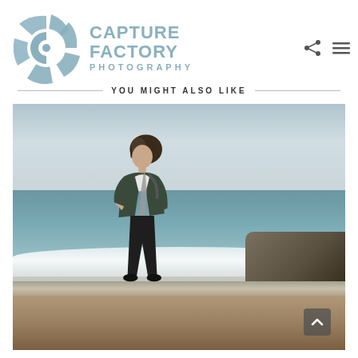[Figure (logo): Capture Factory Photography logo with camera aperture icon and text]
YOU MIGHT ALSO LIKE
[Figure (photo): A person walking on a beach shore wearing a dark jacket, with waves and cloudy sky in background]